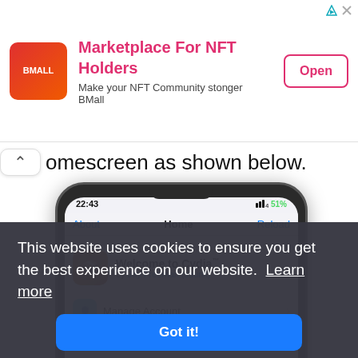[Figure (screenshot): Ad banner for BMall - Marketplace For NFT Holders. Red/orange gradient logo with 'BMALL' text. Ad text: 'Marketplace For NFT Holders', 'Make your NFT Community stonger', 'BMall'. Pink 'Open' button with border. Blue triangle and X icons in top right corner.]
omescreen as shown below.
[Figure (screenshot): iPhone X screenshot showing Cydia app. Status bar: 22:43, 4G, 51% battery. Navigation bar with 'About' (blue), 'Home' (bold), 'Reload' (blue). Cydia row showing orange/brown Cydia icon and text 'Welcome to Cydia™' by Jay Freeman (saurik) in blue. Below: Manage Account row.]
This website uses cookies to ensure you get the best experience on our website.  Learn more
Got it!